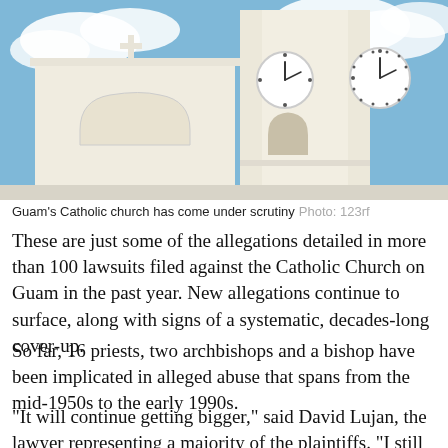[Figure (photo): Photograph of a white Catholic church building with a bell tower featuring a clock, photographed against a partly cloudy blue sky. A cross is visible at the top of the structure.]
Guam's Catholic church has come under scrutiny Photo: 123rf
These are just some of the allegations detailed in more than 100 lawsuits filed against the Catholic Church on Guam in the past year. New allegations continue to surface, along with signs of a systematic, decades-long cover-up.
So far, 16 priests, two archbishops and a bishop have been implicated in alleged abuse that spans from the mid-1950s to the early 1990s.
"It will continue getting bigger," said David Lujan, the lawyer representing a majority of the plaintiffs. "I still have another probably 15 more cases that I